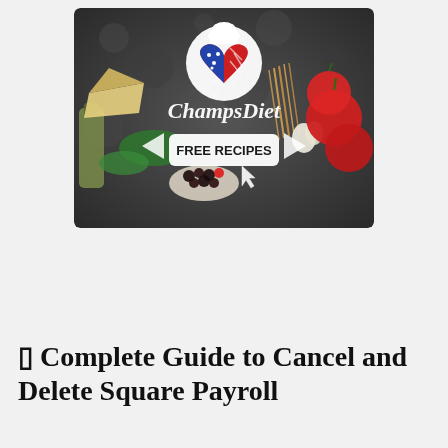[Figure (illustration): ChampsDiet advertisement banner showing food ingredients (tomatoes, pasta, cheese, herbs, olive oil, berries) on a dark stone background, with a circular logo featuring an American flag heart with chef hat, the script text 'ChampsDiet', a white rounded rectangle button labeled 'FREE RECIPES' in bold dark text, flanked by two arrow graphics, and a cursor icon.]
⊓ Complete Guide to Cancel and Delete Square Payroll